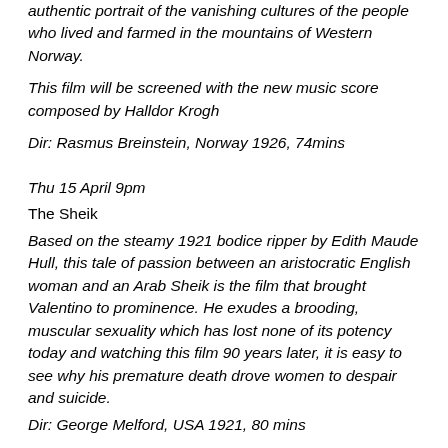authentic portrait of the vanishing cultures of the people who lived and farmed in the mountains of Western Norway.
This film will be screened with the new music score composed by Halldor Krogh
Dir: Rasmus Breinstein, Norway 1926, 74mins
Thu 15 April 9pm
The Sheik
Based on the steamy 1921 bodice ripper by Edith Maude Hull, this tale of passion between an aristocratic English woman and an Arab Sheik is the film that brought Valentino to prominence. He exudes a brooding, muscular sexuality which has lost none of its potency today and watching this film 90 years later, it is easy to see why his premature death drove women to despair and suicide.
Dir: George Melford, USA 1921, 80 mins